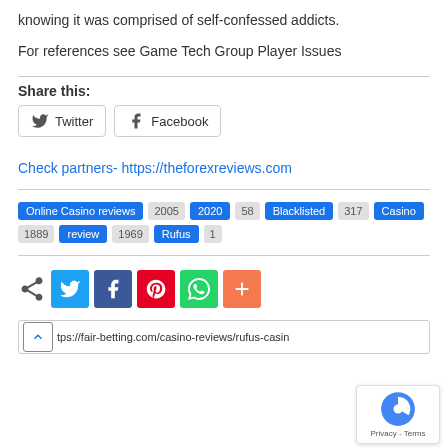knowing it was comprised of self-confessed addicts.
For references see Game Tech Group Player Issues
Share this:
Twitter  Facebook
Check partners- https://theforexreviews.com
Online Casino reviews 2005 2020 58 Blacklisted 317 Casino 1889 review 1969 Rufus 1
[Figure (infographic): Social share icons: share, Twitter, Facebook, Pinterest, WhatsApp, More]
https://fair-betting.com/casino-reviews/rufus-casin